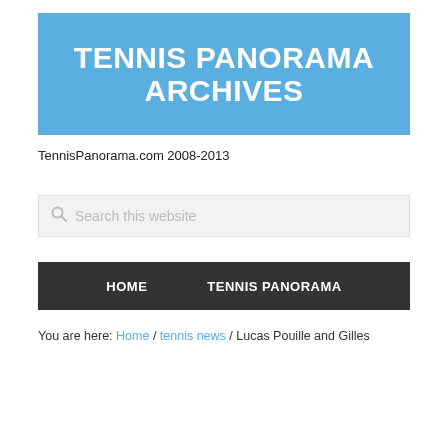[Figure (logo): Tennis Panorama Archives logo banner — blue background with white bold uppercase text reading TENNIS PANORAMA ARCHIVES]
TennisPanorama.com 2008-2013
Search this website
HOME   TENNIS PANORAMA
You are here: Home / tennis news / Lucas Pouille and Gilles